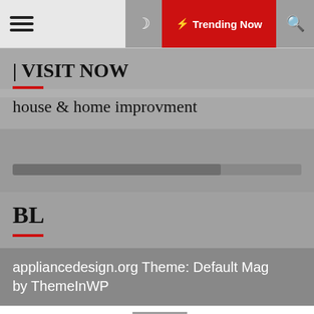Trending Now
| VISIT NOW
house & home improvment
[Figure (other): Progress/loading bar element]
BL
appliancedesign.org Theme: Default Mag by ThemeInWP
Best Labor Day Home and Kitchen Deals in 2022
Shop This Pastry Silicone Brush S